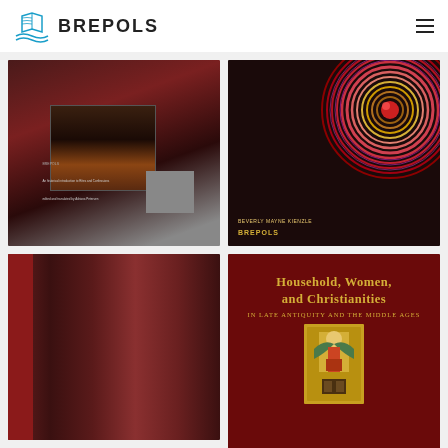[Figure (logo): Brepols publisher logo with ship icon and BREPOLS text]
[Figure (photo): Book cover - dark church interior with red carpet, Brepols publisher]
[Figure (photo): Book cover - concentric circles design in dark red/gold tones, Brepols publisher, author Beverly Mayne Kienzle]
[Figure (photo): Book cover - partial view, dark red/brown textured background]
[Figure (photo): Book cover - Household, Women, and Christianities in Late Antiquity and the Middle Ages, dark red background with gold title and medieval illuminated manuscript image]